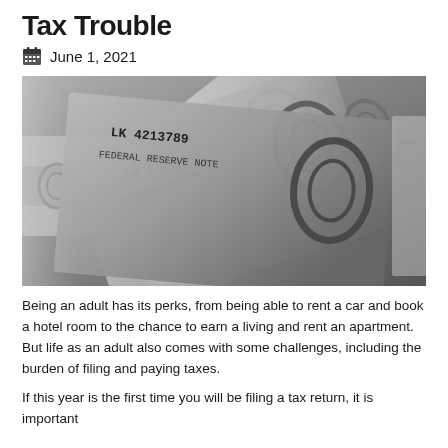Tax Trouble
June 1, 2021
[Figure (photo): Close-up black and white photograph of fanned out US dollar bills showing serial numbers and Federal Reserve imagery]
Being an adult has its perks, from being able to rent a car and book a hotel room to the chance to earn a living and rent an apartment. But life as an adult also comes with some challenges, including the burden of filing and paying taxes.
If this year is the first time you will be filing a tax return, it is important